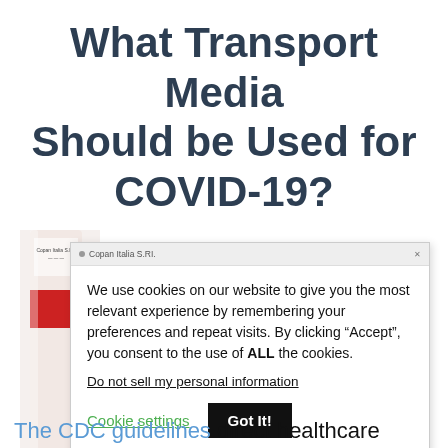What Transport Media Should be Used for COVID-19?
[Figure (screenshot): Screenshot of a webpage about transport media for COVID-19, partially covered by a cookie consent popup overlay. Left side shows a partial image of a transport media tube (white with red stripe). The cookie popup contains text about cookie usage, a 'Do not sell my personal information' link, 'Cookie settings' and 'Got It!' buttons, and a 'Privacy Policy' link.]
We use cookies on our website to give you the most relevant experience by remembering your preferences and repeat visits. By clicking “Accept”, you consent to the use of ALL the cookies.
Do not sell my personal information
Cookie settings
Got It!
Privacy Policy
The CDC guidelines direct healthcare